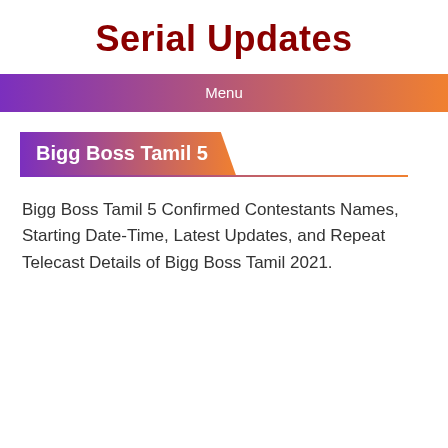Serial Updates
Menu
Bigg Boss Tamil 5
Bigg Boss Tamil 5 Confirmed Contestants Names, Starting Date-Time, Latest Updates, and Repeat Telecast Details of Bigg Boss Tamil 2021.